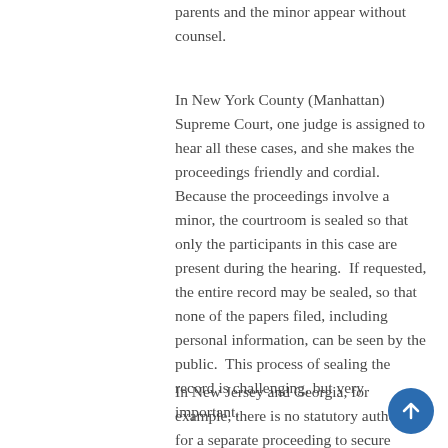parents and the minor appear without counsel.
In New York County (Manhattan) Supreme Court, one judge is assigned to hear all these cases, and she makes the proceedings friendly and cordial. Because the proceedings involve a minor, the courtroom is sealed so that only the participants in this case are present during the hearing.  If requested, the entire record may be sealed, so that none of the papers filed, including personal information, can be seen by the public.  This process of sealing the record is challenging, but very important.
In New Jersey and Georgia, for example, there is no statutory authority for a separate proceeding to secure judicial approval of a